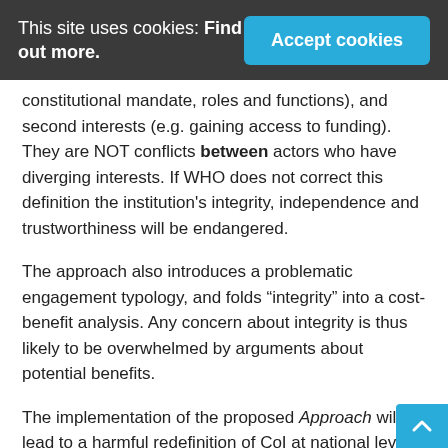This site uses cookies: Find out more.  Accept cookies
constitutional mandate, roles and functions), and second interests (e.g. gaining access to funding). They are NOT conflicts between actors who have diverging interests.  If WHO does not correct this definition the institution's integrity, independence and trustworthiness will be endangered.
The approach also introduces a problematic engagement typology, and folds “integrity” into a cost-benefit analysis. Any concern about integrity is thus likely to be overwhelmed by arguments about potential benefits.
The implementation of the proposed Approach will lead to a harmful redefinition of CoI at national level, an increase of financial CoI, and a weakening of any existing national safeguards. It will promote the development of measures that increase rather than reduce risks of conflicts of interest